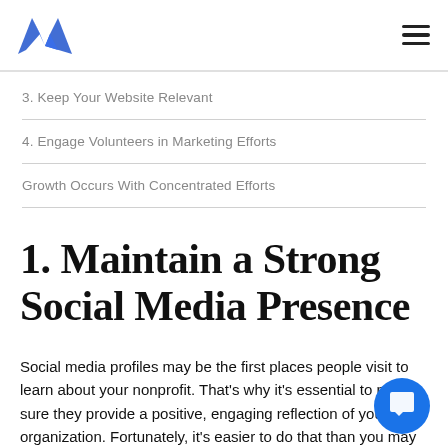[Logo] [Hamburger menu]
3. Keep Your Website Relevant
4. Engage Volunteers in Marketing Efforts
Growth Occurs With Concentrated Efforts
1. Maintain a Strong Social Media Presence
Social media profiles may be the first places people visit to learn about your nonprofit. That's why it's essential to make sure they provide a positive, engaging reflection of your organization. Fortunately, it's easier to do that than you may think.